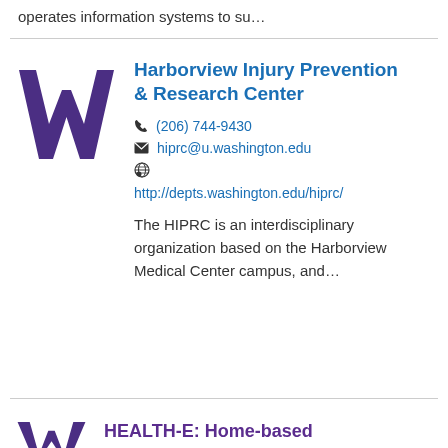operates information systems to su…
[Figure (logo): University of Washington purple W logo]
Harborview Injury Prevention & Research Center
(206) 744-9430
hiprc@u.washington.edu
http://depts.washington.edu/hiprc/
The HIPRC is an interdisciplinary organization based on the Harborview Medical Center campus, and…
[Figure (logo): University of Washington purple W logo (partial, bottom entry)]
HEALTH-E: Home-based